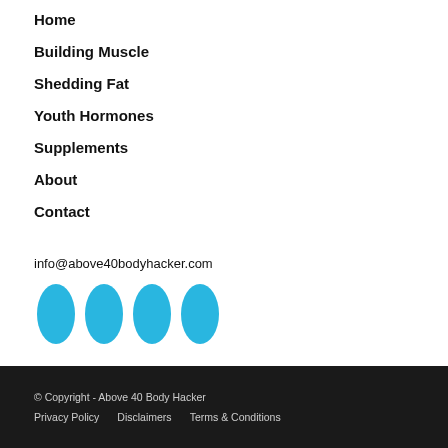Home
Building Muscle
Shedding Fat
Youth Hormones
Supplements
About
Contact
info@above40bodyhacker.com
[Figure (logo): Four cyan/blue oval social media icons in a row]
© Copyright - Above 40 Body Hacker  Privacy Policy  Disclaimers  Terms & Conditions